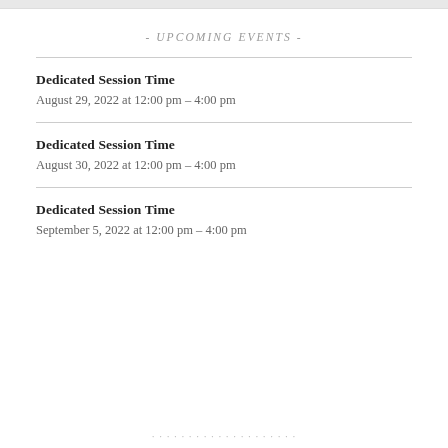- UPCOMING EVENTS -
Dedicated Session Time
August 29, 2022 at 12:00 pm – 4:00 pm
Dedicated Session Time
August 30, 2022 at 12:00 pm – 4:00 pm
Dedicated Session Time
September 5, 2022 at 12:00 pm – 4:00 pm
...